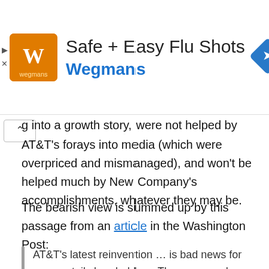[Figure (advertisement): Safe + Easy Flu Shots advertisement banner for Wegmans, featuring an orange/yellow logo on the left, text in the center, and a blue navigation/directions icon on the right]
g into a growth story, were not helped by AT&T's forays into media (which were overpriced and mismanaged), and won't be helped much by New Company's accomplishments, whatever they may be.
The bearish view is summed up by this passage from an article in the Washington Post:
AT&T's latest reinvention … is bad news for many retail shareholders. The company has long paid a generous dividend, attracting legions of mom-and-pop investors seeking dependable retirement payouts.

But shedding WarnerMedia will shrink annual dividends by about half, from about $15 billion to between around $8...